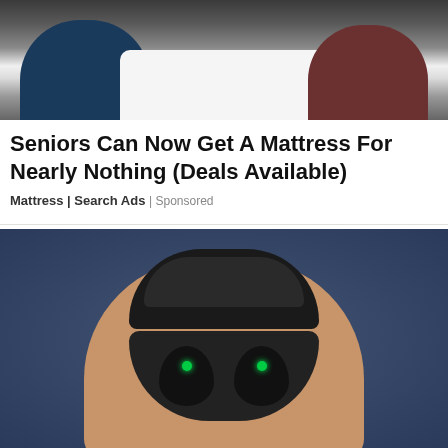[Figure (photo): Two elderly people (a man and a woman) sitting on a white mattress/bed in a bedroom setting]
Seniors Can Now Get A Mattress For Nearly Nothing (Deals Available)
Mattress | Search Ads | Sponsored
[Figure (photo): A hand holding open a black oval-shaped case containing two wireless earbuds with green indicator lights, against a blue-gray background]
The Best Hearing Aids for Seniors (Take a Look